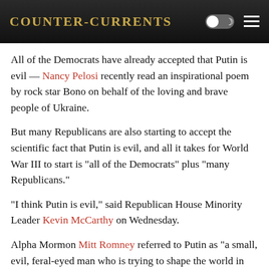Counter-Currents
All of the Democrats have already accepted that Putin is evil — Nancy Pelosi recently read an inspirational poem by rock star Bono on behalf of the loving and brave people of Ukraine.
But many Republicans are also starting to accept the scientific fact that Putin is evil, and all it takes for World War III to start is “all of the Democrats” plus “many Republicans.”
“I think Putin is evil,” said Republican House Minority Leader Kevin McCarthy on Wednesday.
Alpha Mormon Mitt Romney referred to Putin as “a small, evil, feral-eyed man who is trying to shape the world in the image where once again Russia would be an empire.”
Senator Ben Sasse of Nebraska explains, “our rooting